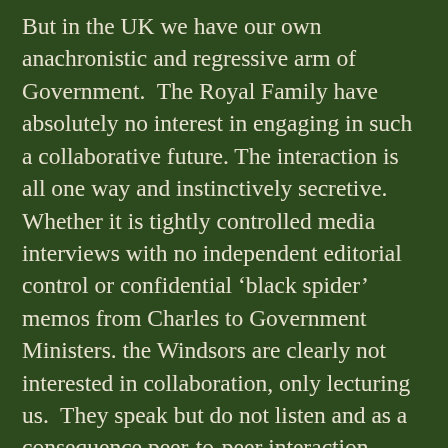But in the UK we have our own anachronistic and regressive arm of Government. The Royal Family have absolutely no interest in engaging in such a collaborative future. The interaction is all one way and instinctively secretive. Whether it is tightly controlled media interviews with no independent editorial control or confidential 'black spider' memos from Charles to Government Ministers. the Windsors are clearly not interested in collaboration, only lecturing us. They speak but do not listen and as a consequence peer-to-peer interaction which relies on a flexible attitude of equal privilege cannot take place. At the beginning of the 20th Century the Russian Romanov's found that being perceived as remote from their people was, surprisingly, more deadly to their future